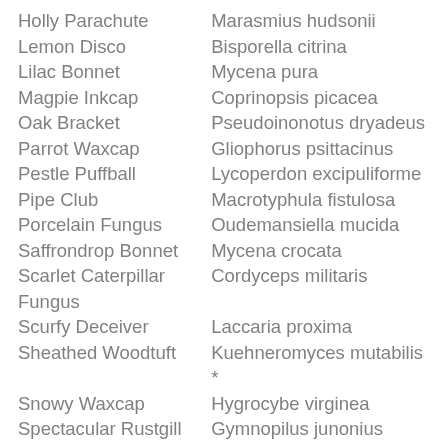| Common Name | Scientific Name |
| --- | --- |
| Holly Parachute | Marasmius hudsonii |
| Lemon Disco | Bisporella citrina |
| Lilac Bonnet | Mycena pura |
| Magpie Inkcap | Coprinopsis picacea |
| Oak Bracket | Pseudoinonotus dryadeus |
| Parrot Waxcap | Gliophorus psittacinus |
| Pestle Puffball | Lycoperdon excipuliforme |
| Pipe Club | Macrotyphula fistulosa |
| Porcelain Fungus | Oudemansiella mucida |
| Saffrondrop Bonnet | Mycena crocata |
| Scarlet Caterpillar Fungus | Cordyceps militaris |
| Scurfy Deceiver | Laccaria proxima |
| Sheathed Woodtuft | Kuehneromyces mutabilis * |
| Snowy Waxcap | Hygrocybe virginea |
| Spectacular Rustgill | Gymnopilus junonius |
| Stump Puffball | Lycoperdon pyriforme |
| Sulphur Tuft | Hypholoma fasciculare |
| Tawny Grisette | Amanita fulva |
| Tiered Tooth | Hericium cirrhatum |
| Trooping Funnel | Clitocybe geotropa |
| Turkeytail | Trametes versicolor |